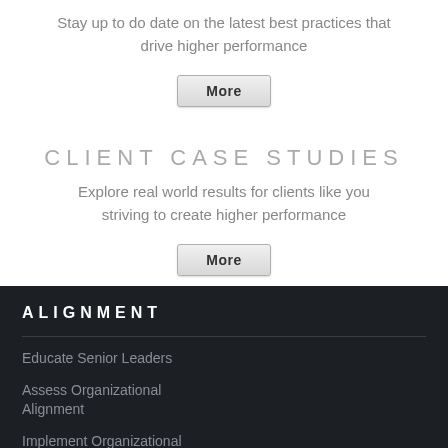Stay up to do date on the latest best practices that drive higher performance
More
CLIENT CASE STUDIES
Explore real world results for clients like you striving to create higher performance
More
ALIGNMENT
Educate Senior Leaders
Assess Organizational Alignment
Implement Organizational